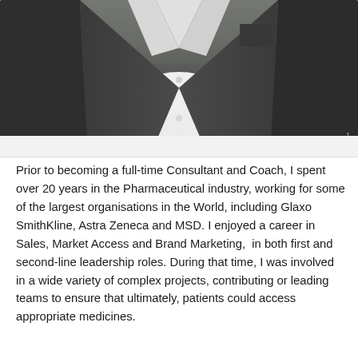[Figure (photo): Photograph of a person wearing a dark grey blazer and white shirt, cropped from chest/torso area upward. The background appears to be outdoors. Only the torso and lower face/neck area are visible.]
Prior to becoming a full-time Consultant and Coach, I spent over 20 years in the Pharmaceutical industry, working for some of the largest organisations in the World, including Glaxo SmithKline, Astra Zeneca and MSD. I enjoyed a career in Sales, Market Access and Brand Marketing,  in both first and second-line leadership roles. During that time, I was involved in a wide variety of complex projects, contributing or leading teams to ensure that ultimately, patients could access appropriate medicines.